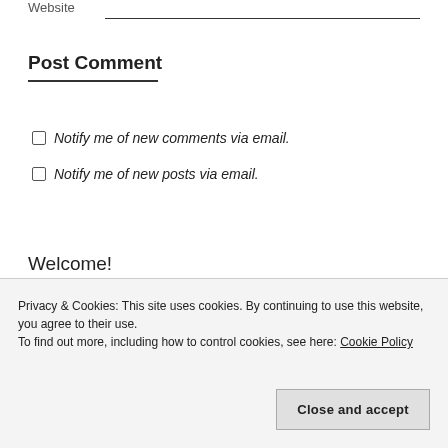Website
Post Comment
Notify me of new comments via email.
Notify me of new posts via email.
Welcome!
[Figure (photo): Black and white photo partially visible]
Privacy & Cookies: This site uses cookies. By continuing to use this website, you agree to their use. To find out more, including how to control cookies, see here: Cookie Policy
Close and accept